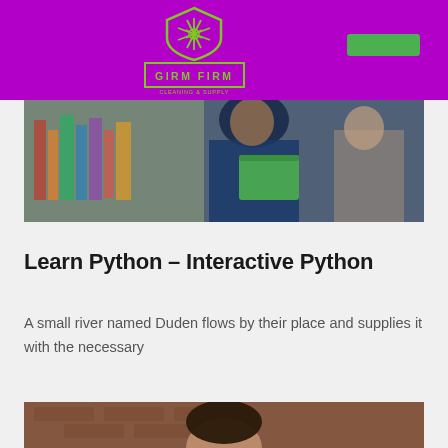[Figure (logo): Girm Firm logo with shield icon on purple header bar]
[Figure (photo): Person holding a green folder/book in a library or bookstore setting]
Learn Python – Interactive Python
A small river named Duden flows by their place and supplies it with the necessary
[Figure (photo): Person's head visible at the bottom of the page against a brick wall background]